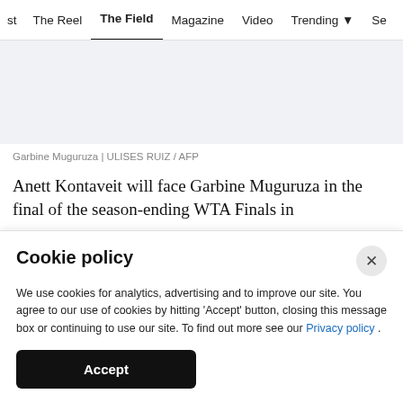st  The Reel  The Field  Magazine  Video  Trending  Se
[Figure (photo): Light grey placeholder area representing an image of Garbine Muguruza]
Garbine Muguruza | ULISES RUIZ / AFP
Anett Kontaveit will face Garbine Muguruza in the final of the season-ending WTA Finals in
Cookie policy
We use cookies for analytics, advertising and to improve our site. You agree to our use of cookies by hitting 'Accept' button, closing this message box or continuing to use our site. To find out more see our Privacy policy .